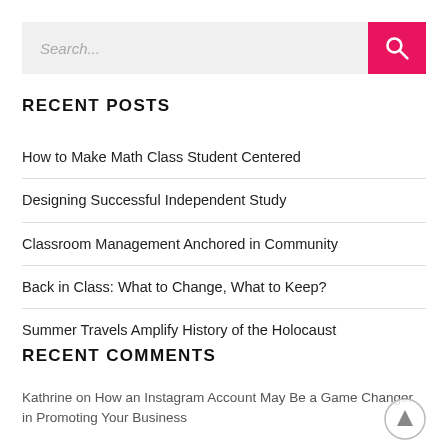[Figure (screenshot): Search bar with text input field showing placeholder 'Search...' and a pink/magenta search button with magnifying glass icon on the right]
RECENT POSTS
How to Make Math Class Student Centered
Designing Successful Independent Study
Classroom Management Anchored in Community
Back in Class: What to Change, What to Keep?
Summer Travels Amplify History of the Holocaust
RECENT COMMENTS
Kathrine on How an Instagram Account May Be a Game Changer in Promoting Your Business